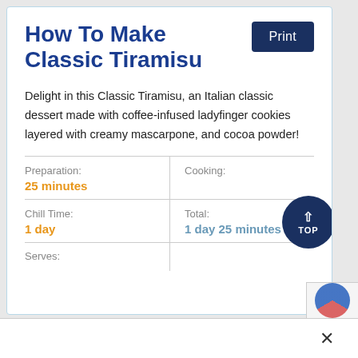How To Make Classic Tiramisu
Delight in this Classic Tiramisu, an Italian classic dessert made with coffee-infused ladyfinger cookies layered with creamy mascarpone, and cocoa powder!
|  |  |
| --- | --- |
| Preparation: | Cooking: |
| 25 minutes |  |
| Chill Time: | Total: |
| 1 day | 1 day 25 minutes |
| Serves: |  |